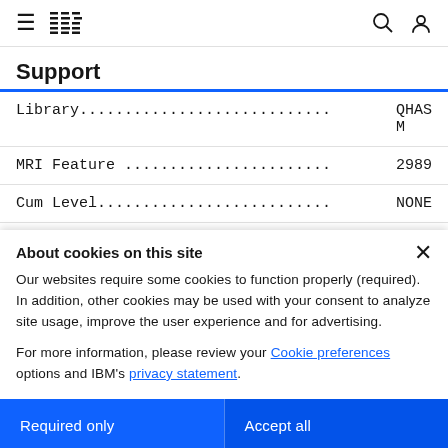IBM Support
Support
Library............................QHASM
MRI Feature .......................2989
Cum Level..........................NONE
About cookies on this site
Our websites require some cookies to function properly (required). In addition, other cookies may be used with your consent to analyze site usage, improve the user experience and for advertising.

For more information, please review your Cookie preferences options and IBM's privacy statement.
Required only
Accept all